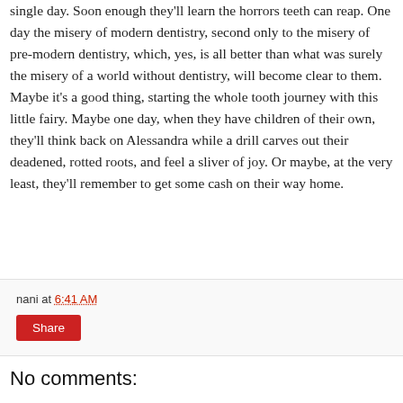single day. Soon enough they'll learn the horrors teeth can reap. One day the misery of modern dentistry, second only to the misery of pre-modern dentistry, which, yes, is all better than what was surely the misery of a world without dentistry, will become clear to them. Maybe it's a good thing, starting the whole tooth journey with this little fairy. Maybe one day, when they have children of their own, they'll think back on Alessandra while a drill carves out their deadened, rotted roots, and feel a sliver of joy. Or maybe, at the very least, they'll remember to get some cash on their way home.
nani at 6:41 AM
Share
No comments: